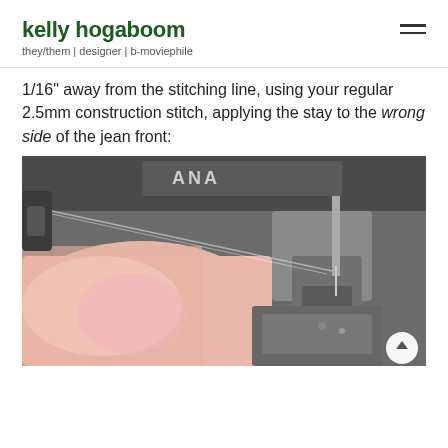kelly hogaboom
they/them | designer | b-moviephile
1/16" away from the stitching line, using your regular 2.5mm construction stitch, applying the stay to the wrong side of the jean front:
[Figure (photo): Close-up photograph of fabric being sewn on a sewing machine (appears to be a Janome), showing pink/peach fabric under the presser foot with thread and needle visible, motion blur on the left side.]